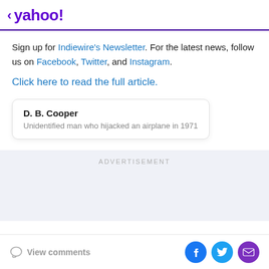< yahoo!
Sign up for Indiewire's Newsletter. For the latest news, follow us on Facebook, Twitter, and Instagram.
Click here to read the full article.
D. B. Cooper
Unidentified man who hijacked an airplane in 1971
ADVERTISEMENT
View comments